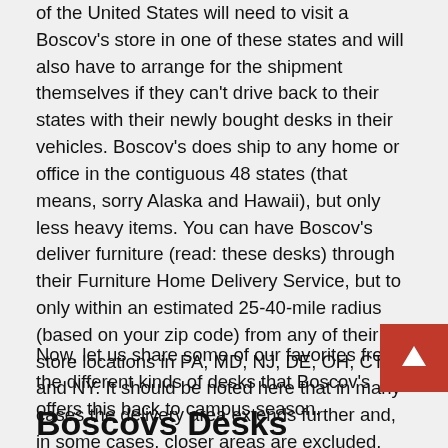of the United States will need to visit a Boscov's store in one of these states and will also have to arrange for the shipment themselves if they can't drive back to their states with their newly bought desks in their vehicles. Boscov's does ship to any home or office in the contiguous 48 states (that means, sorry Alaska and Hawaii), but only less heavy items. You can have Boscov's deliver furniture (read: these desks) through their Furniture Home Delivery Service, but to only within an estimated 25-40-mile radius (based on your zip code) from any of their store locations in PA, MD, NJ, DE, OH, CT and NY. It should be noted here that in many cases the delivery area extends further and, in some cases, closer areas are excluded.
Now, let us share some of our favorites from the different kinds of desks that Boscov's offers this back to campus season.
Boscovs Desks